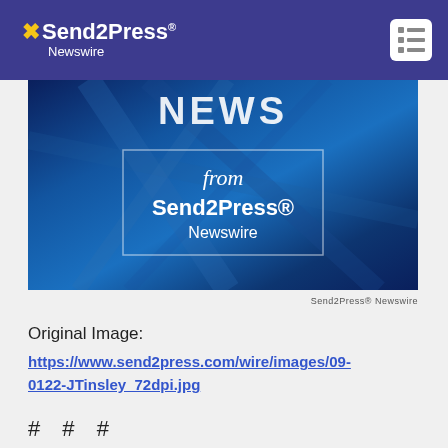Send2Press Newswire
[Figure (illustration): Send2Press Newswire news image banner showing 'NEWS from Send2Press Newswire' text on a blue background with abstract architectural lines]
Send2Press® Newswire
Original Image:
https://www.send2press.com/wire/images/09-0122-JTinsley_72dpi.jpg
# # #